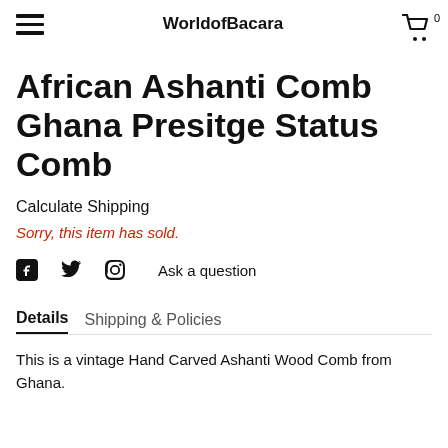WorldofBacara
African Ashanti Comb Ghana Presitge Status Comb
Calculate Shipping
Sorry, this item has sold.
Ask a question
Details   Shipping & Policies
This is a vintage Hand Carved Ashanti Wood Comb from Ghana.